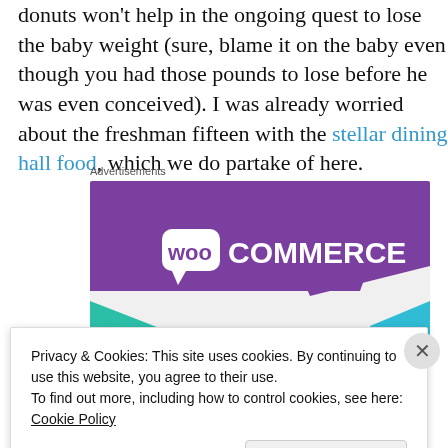donuts won't help in the ongoing quest to lose the baby weight (sure, blame it on the baby even though you had those pounds to lose before he was even conceived). I was already worried about the freshman fifteen with the stellar dining hall food, which we do partake of here.
Advertisements
[Figure (logo): WooCommerce advertisement banner with purple background, green triangle on left, teal triangle on bottom right, white WooCommerce logo text in center.]
Privacy & Cookies: This site uses cookies. By continuing to use this website, you agree to their use.
To find out more, including how to control cookies, see here: Cookie Policy